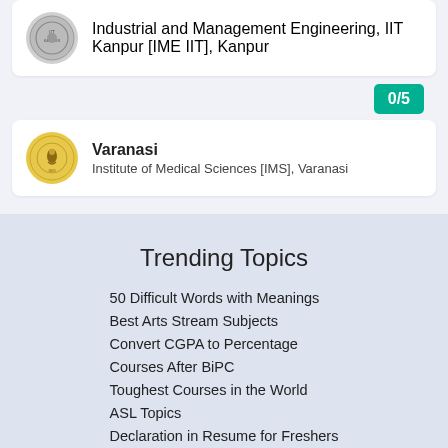[Figure (logo): IIT Kanpur circular institution logo (grey background)]
Industrial and Management Engineering, IIT Kanpur [IME IIT], Kanpur
0/5
[Figure (logo): Varanasi institution circular logo (yellow background)]
Varanasi
Institute of Medical Sciences [IMS], Varanasi
Trending Topics
50 Difficult Words with Meanings
Best Arts Stream Subjects
Convert CGPA to Percentage
Courses After BiPC
Toughest Courses in the World
ASL Topics
Declaration in Resume for Freshers
PMP Certification